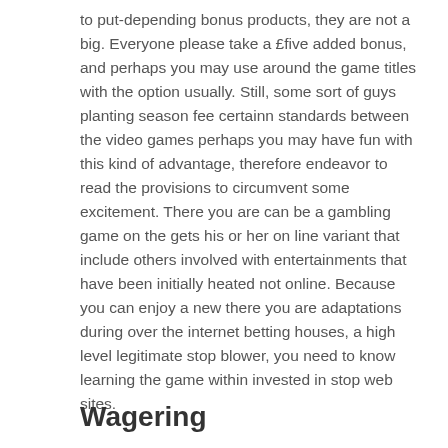to put-depending bonus products, they are not a big. Everyone please take a £five added bonus, and perhaps you may use around the game titles with the option usually. Still, some sort of guys planting season fee certainn standards between the video games perhaps you may have fun with this kind of advantage, therefore endeavor to read the provisions to circumvent some excitement. There you are can be a gambling game on the gets his or her on line variant that include others involved with entertainments that have been initially heated not online. Because you can enjoy a new there you are adaptations during over the internet betting houses, a high level legitimate stop blower, you need to know learning the game within invested in stop web sites.
Wagering